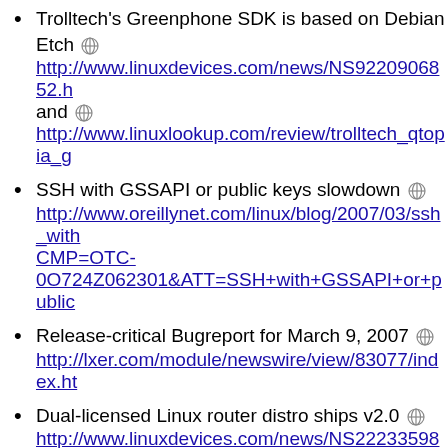Trolltech's Greenphone SDK is based on Debian Etch [globe] http://www.linuxdevices.com/news/NS9220906852.h and [globe] http://www.linuxlookup.com/review/trolltech_qtopia_g
SSH with GSSAPI or public keys slowdown [globe] http://www.oreillynet.com/linux/blog/2007/03/ssh_with CMP=OTC-0O724Z062301&ATT=SSH+with+GSSAPI+or+public
Release-critical Bugreport for March 9, 2007 [globe] http://lxer.com/module/newswire/view/83077/index.ht
Dual-licensed Linux router distro ships v2.0 [globe] http://www.linuxdevices.com/news/NS2223359808.ht
Clustering distro ?ParallelKnoppix goes gold with v2.4 Clustering distro ?ParallelKnoppix goes gold with v2.4
Debian Weekly News - March 13th, 2007 [globe] http://lxer.com/module/newswire/view/83385/index.ht